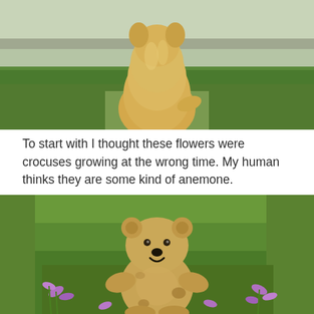[Figure (photo): A golden-colored fluffy dog photographed from behind, sitting on green grass with a concrete structure in the distant background. The dog's fur is light tan/cream colored.]
To start with I thought these flowers were crocuses growing at the wrong time. My human thinks they are some kind of anemone.
[Figure (photo): A worn tan teddy bear sitting in green grass surrounded by purple crocus-like flowers (anemones). The bear has button eyes, a round nose, and visible wear/patches. Purple flowers with white centers are visible around and behind the bear.]